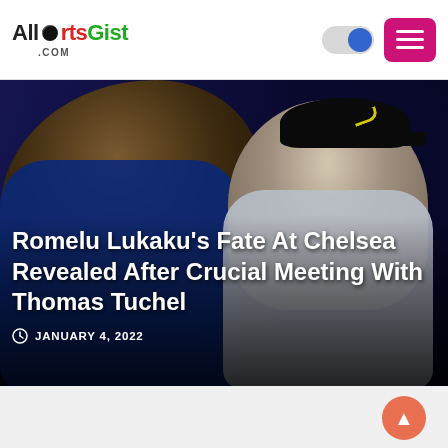[Figure (logo): AllSportsGist.com logo with soccer ball icon]
[Figure (photo): Romelu Lukaku and Thomas Tuchel in close conversation on the pitch, Lukaku wearing Chelsea blue jersey, Tuchel wearing dark cap and gray winter jacket]
Romelu Lukaku’s Fate At Chelsea Revealed After Crucial Meeting With Thomas Tuchel
JANUARY 4, 2022